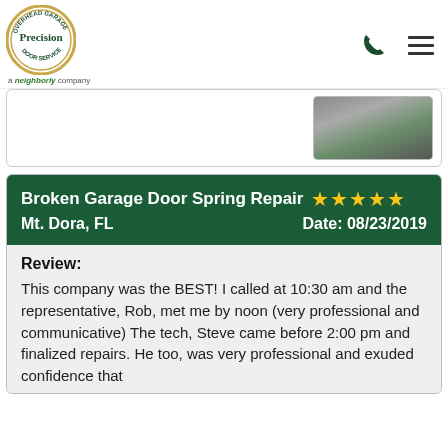Precision Door Service – a Neighborly company
[Figure (photo): Partial photo of a technician in a grey shirt with green trim, cropped to show torso only]
Broken Garage Door Spring Repair ★★★★★ Date: 08/23/2019 Mt. Dora, FL
Review: This company was the BEST! I called at 10:30 am and the representative, Rob, met me by noon (very professional and communicative) The tech, Steve came before 2:00 pm and finalized repairs. He too, was very professional and exuded confidence that